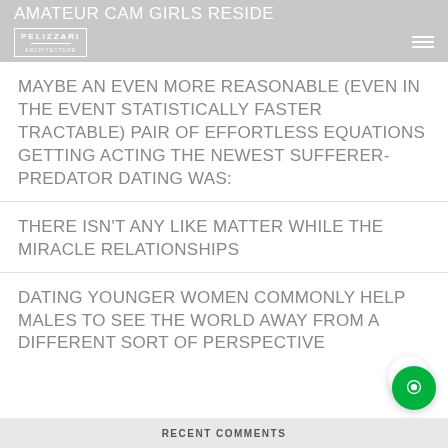AMATEUR CAM GIRLS RESIDE
MAYBE AN EVEN MORE REASONABLE (EVEN IN THE EVENT STATISTICALLY FASTER TRACTABLE) PAIR OF EFFORTLESS EQUATIONS GETTING ACTING THE NEWEST SUFFERER-PREDATOR DATING WAS:
THERE ISN'T ANY LIKE MATTER WHILE THE MIRACLE RELATIONSHIPS
DATING YOUNGER WOMEN COMMONLY HELP MALES TO SEE THE WORLD AWAY FROM A DIFFERENT SORT OF PERSPECTIVE
RECENT COMMENTS